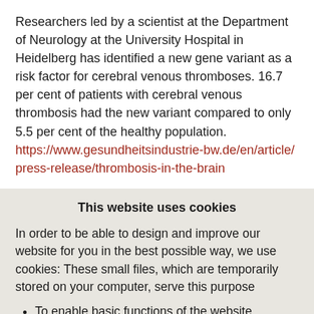Researchers led by a scientist at the Department of Neurology at the University Hospital in Heidelberg has identified a new gene variant as a risk factor for cerebral venous thromboses. 16.7 per cent of patients with cerebral venous thrombosis had the new variant compared to only 5.5 per cent of the healthy population. https://www.gesundheitsindustrie-bw.de/en/article/press-release/thrombosis-in-the-brain
This website uses cookies
In order to be able to design and improve our website for you in the best possible way, we use cookies: These small files, which are temporarily stored on your computer, serve this purpose
To enable basic functions of the website („Essentials“)
Make available third-party elements integrated into the website such as YouTube videos or Google Maps navigation („third-party cookies“)
To operate statistical and tracking tools to understand how site visitors use the site and to implement